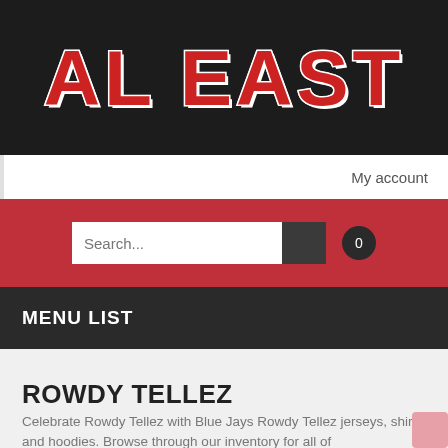AL EAST
My account
[Figure (screenshot): Search bar with text input field, dark search button, and cart badge showing 0]
MENU LIST
ROWDY TELLEZ
Celebrate Rowdy Tellez with Blue Jays Rowdy Tellez jerseys, shirts and hoodies. Browse through our inventory for all of